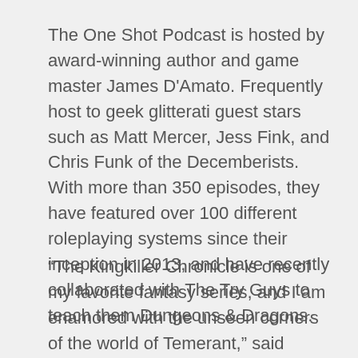The One Shot Podcast is hosted by award-winning author and game master James D'Amato. Frequently host to geek glitterati guest stars such as Matt Mercer, Jess Fink, and Chris Funk of the Decemberists. With more than 350 episodes, they have featured over 100 different roleplaying systems since their inception in 2013, and have recently collaborated with The Try Guys to teach them Dungeons & Dragons.
“The Kingkiller Chronicle is one of my favorite fantasy series, and I am enamored with the unseen corners of the world of Temerant,” said D’Amato “I am thrilled to have the opportunity to explore it alongside Pat and all the talented performers we are working